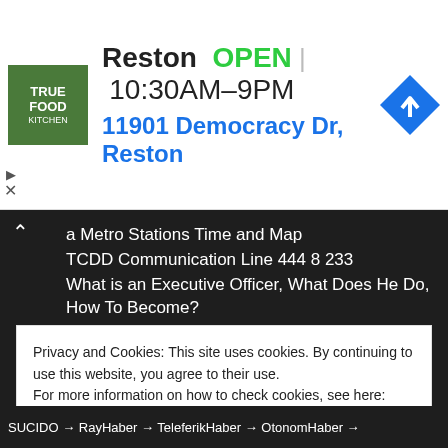[Figure (screenshot): Advertisement banner for True Food Kitchen restaurant in Reston, showing logo, OPEN status, hours 10:30AM-9PM, address 11901 Democracy Dr, Reston, and a navigation icon]
a Metro Stations Time and Map
TCDD Communication Line 444 8 233
What is an Executive Officer, What Does He Do, How To Become?
Executive Officer Salaries 2022
Kadikoy Route of Tavsantepe Metro Stops
Infrastructure Work on Batikent Sincan Metro Line Continues Quickly
CZN Is Burak Sick? Why CZN Burak Had Surgery, What Is His Disease?
Additional Expert Report Reached the Court in Corlu Train Disaster:
Privacy and Cookies: This site uses cookies. By continuing to use this website, you agree to their use.
For more information on how to check cookies, see here: Cookie Policy
OK
SUCIDO → RayHaber → TelefeikHaber → OtonomHaber →